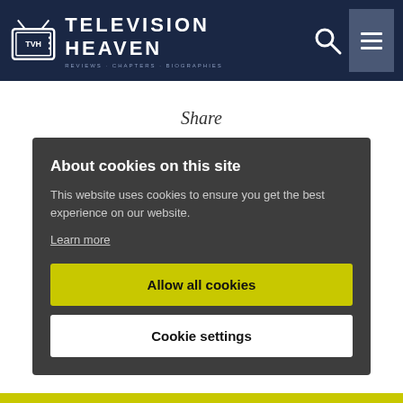TELEVISION HEAVEN
Share
About cookies on this site
This website uses cookies to ensure you get the best experience on our website.
Learn more
Allow all cookies
Cookie settings